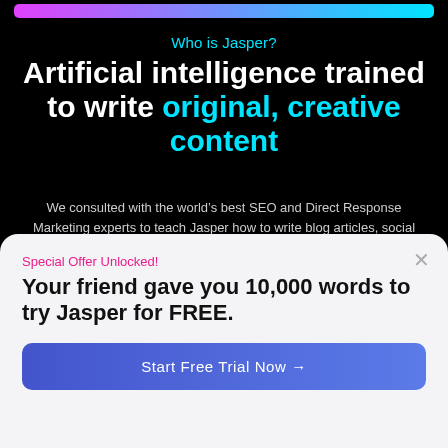[Figure (other): Gradient top bar (pink to cyan) at top of page]
Who is Jasper?
Artificial intelligence trained to write original, creative content
We consulted with the world’s best SEO and Direct Response Marketing experts to teach Jasper how to write blog articles, social media posts, website copy, and more…
Special Offer Unlocked!
Your friend gave you 10,000 words to try Jasper for FREE.
Start Free Trial Now →